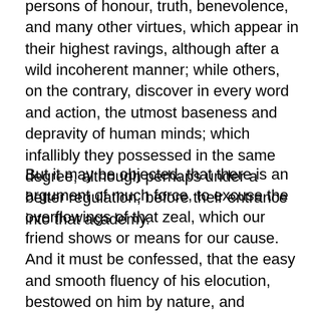persons of honour, truth, benevolence, and many other virtues, which appear in their highest ravings, although after a wild incoherent manner; while others, on the contrary, discover in every word and action, the utmost baseness and depravity of human minds; which infallibly they possessed in the same degree, although perhaps under a better regulation, before their entrance into that academy.
But it may be objected, that there is an argument of much force, to excuse the overflowings of that zeal, which our friend shows or means for our cause. And it must be confessed, that the easy and smooth fluency of his elocution, bestowed on him by nature, and cultivated by continual practice, added to the comeliness of his person, the harmony of his voice, the gracefulness of his manner, and the decency of his dress, are temptations too strong